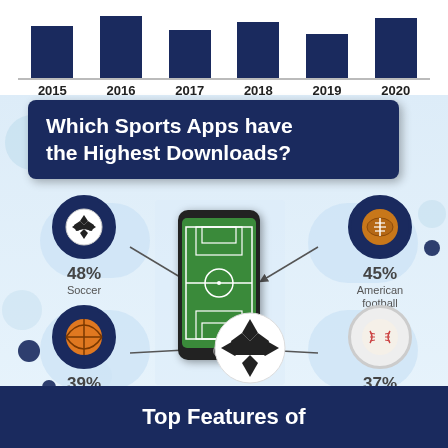[Figure (infographic): Bar chart showing years 2015-2020 with dark navy bars of varying heights at the top of the infographic]
Which Sports Apps have the Highest Downloads?
[Figure (infographic): Four sports categories shown with icons and download percentages: Soccer 48%, American football 45%, Basketball 39%, Baseball 37%. Center shows a smartphone with soccer field and soccer ball.]
Top Features of